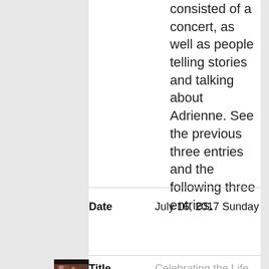consisted of a concert, as well as people telling stories and talking about Adrienne. See the previous three entries and the following three entries.
Date
July 16, 2017 Sunday
[Figure (photo): Small thumbnail photo of people at an event]
Title
Celebrating the Life of Adrienne Elisha, Bard College, Annandale-On-Hudson, NY. 5